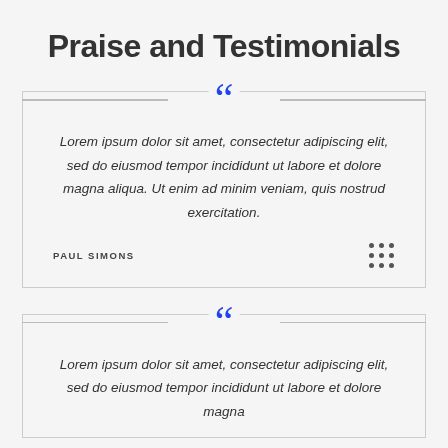Praise and Testimonials
Lorem ipsum dolor sit amet, consectetur adipiscing elit, sed do eiusmod tempor incididunt ut labore et dolore magna aliqua. Ut enim ad minim veniam, quis nostrud exercitation.
PAUL SIMONS
Lorem ipsum dolor sit amet, consectetur adipiscing elit, sed do eiusmod tempor incididunt ut labore et dolore magna...